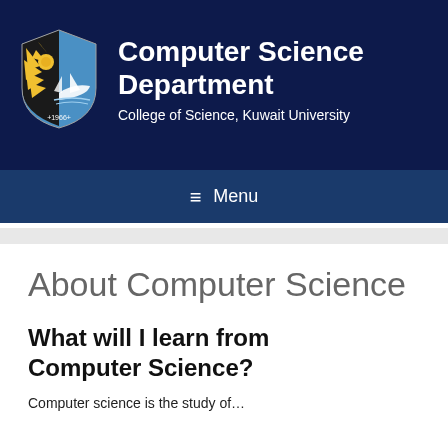[Figure (logo): Kuwait University shield logo with sun rays, boat, and '1966' inscription in blue and yellow]
Computer Science Department
College of Science, Kuwait University
≡  Menu
About Computer Science
What will I learn from Computer Science?
Computer science is the study of...